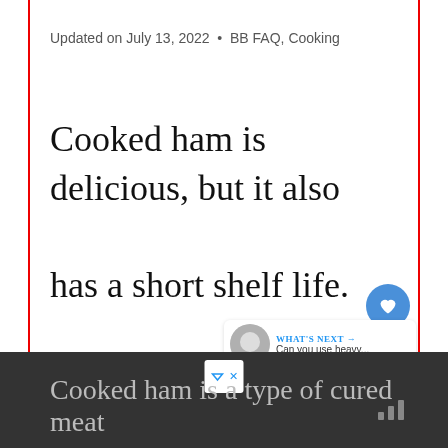Updated on July 13, 2022 · BB FAQ, Cooking
Cooked ham is delicious, but it also has a short shelf life. How long should you store cooked ham in the refrigerator before serving?
Cooked ham is a type of cured meat